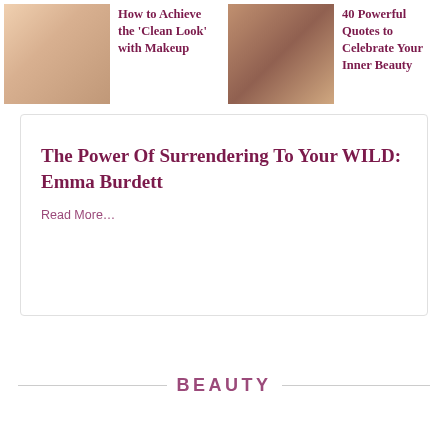[Figure (photo): Thumbnail of woman with hand near face for clean makeup article]
How to Achieve the 'Clean Look' with Makeup
[Figure (photo): Thumbnail of group of women for inner beauty quotes article]
40 Powerful Quotes to Celebrate Your Inner Beauty
The Power Of Surrendering To Your WILD: Emma Burdett
Read More…
BEAUTY